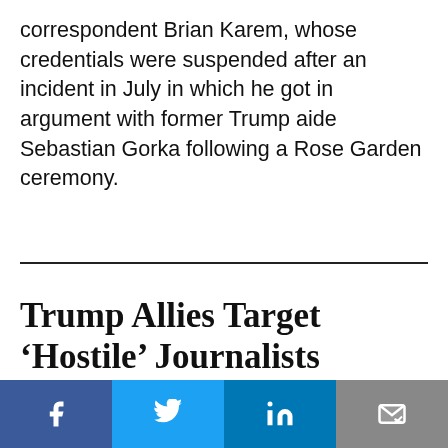correspondent Brian Karem, whose credentials were suspended after an incident in July in which he got in argument with former Trump aide Sebastian Gorka following a Rose Garden ceremony.
Trump Allies Target ‘Hostile’ Journalists
We use cookies to ensure that we give you the best experience on our website. If you continue to use this site we will assume that you are happy with it.
[Figure (infographic): Social sharing bar with Facebook, Twitter, LinkedIn, and email/newsletter icons at bottom of page]